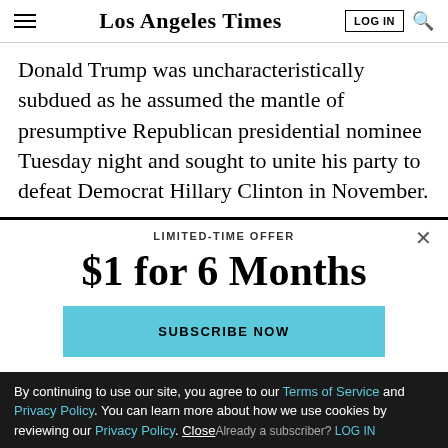Los Angeles Times
Donald Trump was uncharacteristically subdued as he assumed the mantle of presumptive Republican presidential nominee Tuesday night and sought to unite his party to defeat Democrat Hillary Clinton in November.
LIMITED-TIME OFFER
$1 for 6 Months
SUBSCRIBE NOW
By continuing to use our site, you agree to our Terms of Service and Privacy Policy. You can learn more about how we use cookies by reviewing our Privacy Policy. Close
Already a subscriber? LOG IN